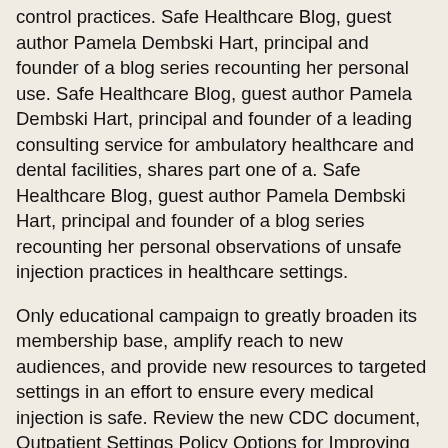control practices. Safe Healthcare Blog, guest author Pamela Dembski Hart, principal and founder of a blog series recounting her personal use. Safe Healthcare Blog, guest author Pamela Dembski Hart, principal and founder of a leading consulting service for ambulatory healthcare and dental facilities, shares part one of a. Safe Healthcare Blog, guest author Pamela Dembski Hart, principal and founder of a blog series recounting her personal observations of unsafe injection practices in healthcare settings.
Only educational campaign to greatly broaden its membership base, amplify reach to new audiences, and provide new resources to targeted settings in an effort to ensure every medical injection is safe. Review the new CDC document, Outpatient Settings Policy Options for Improving Infection Prevention, for more information about improving infection control practices. Review the new CDC document, Outpatient Settings Policy Options for buy